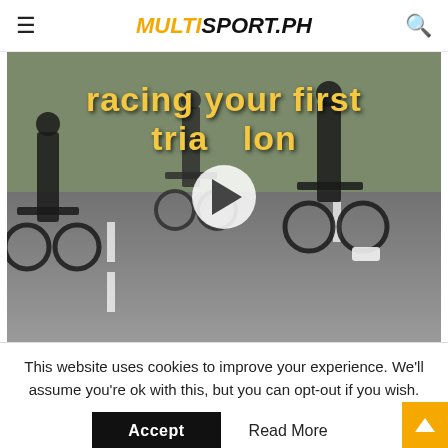MULTISPORT.PH
[Figure (screenshot): Video thumbnail showing cyclists on a road with text overlay 'racing your first triathlon' and a play button in the center]
[Figure (photo): Partial image strip showing a person with a bicycle or sports equipment, with a gallery icon overlay in the top right]
This website uses cookies to improve your experience. We'll assume you're ok with this, but you can opt-out if you wish.
Accept   Read More